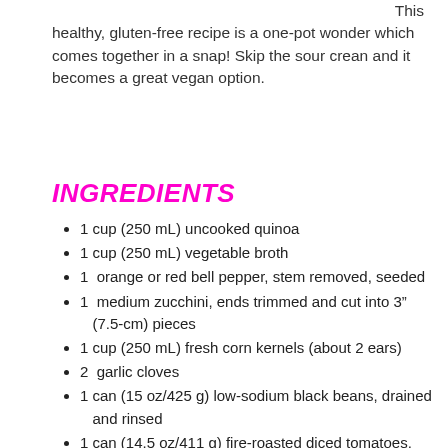This healthy, gluten-free recipe is a one-pot wonder which comes together in a snap! Skip the sour crean and it becomes a great vegan option.
INGREDIENTS
1 cup (250 mL) uncooked quinoa
1 cup (250 mL) vegetable broth
1  orange or red bell pepper, stem removed, seeded
1  medium zucchini, ends trimmed and cut into 3" (7.5-cm) pieces
1 cup (250 mL) fresh corn kernels (about 2 ears)
2  garlic cloves
1 can (15 oz/425 g) low-sodium black beans, drained and rinsed
1 can (14.5 oz/411 g) fire-roasted diced tomatoes,